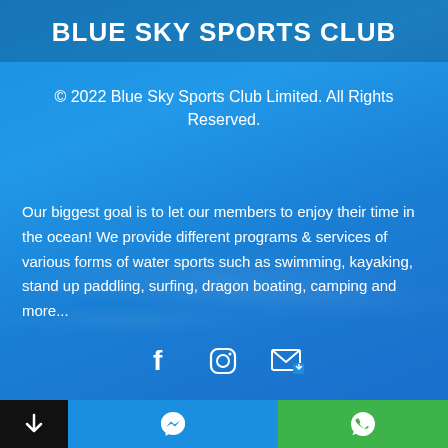BLUE SKY SPORTS CLUB
© 2022 Blue Sky Sports Club Limited. All Rights Reserved.
Our biggest goal is to let our members to enjoy their time in the ocean! We provide different programs & services of various forms of water sports such as swimming, kayaking, stand up paddling, surfing, dragon boating, camping and more...
[Figure (illustration): Social media icons: Facebook, Instagram, and mailing/email icon in white on blue background]
[Figure (illustration): Bottom navigation bar with three sections: black section with down arrow, blue section with Facebook Messenger icon, green section with WhatsApp icon]